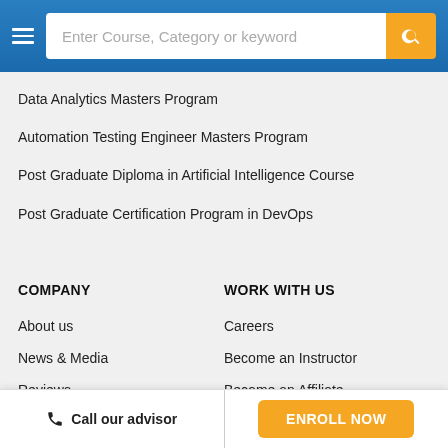Enter Course, Category or keyword
Data Analytics Masters Program
Automation Testing Engineer Masters Program
Post Graduate Diploma in Artificial Intelligence Course
Post Graduate Certification Program in DevOps
COMPANY
WORK WITH US
About us
Careers
News & Media
Become an Instructor
Reviews
Become an Affiliate
Contact us
Become a Partner
Call our advisor | ENROLL NOW